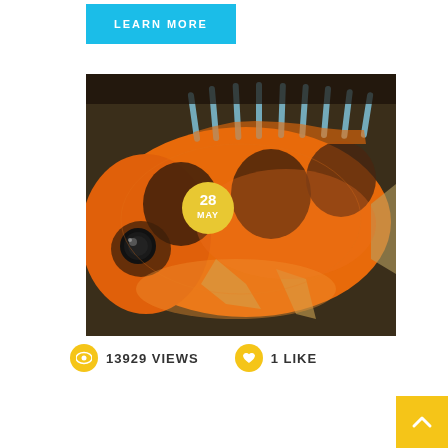LEARN MORE
[Figure (photo): Close-up photograph of an orange fish with dark brown blotches and spiny dorsal fin, against a dark aquatic background. A yellow circle badge overlaid in the upper left shows '28 MAY'.]
13929 VIEWS
1 LIKE